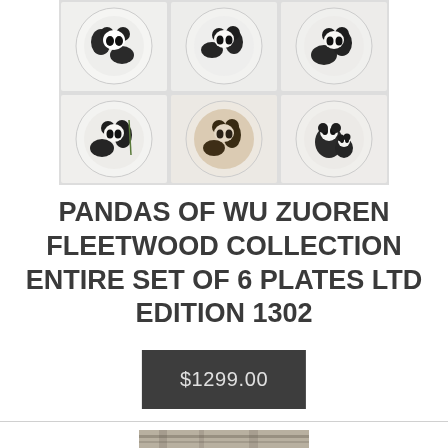[Figure (photo): Grid of 6 collector plates featuring panda artwork by Wu Zuoren, shown in white square packaging]
PANDAS OF WU ZUOREN FLEETWOOD COLLECTION ENTIRE SET OF 6 PLATES LTD EDITION 1302
$1299.00
[Figure (photo): Partially visible image at bottom of page, appears to be a stone or textured surface]